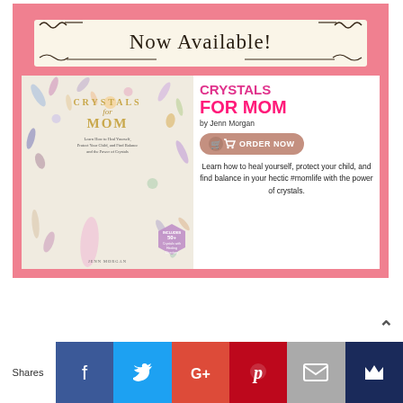[Figure (illustration): Book advertisement for 'Crystals for Mom' by Jenn Morgan. Pink bordered frame containing a 'Now Available!' handwritten-style banner at top, a book cover image on the left showing the book with crystal decorations, and on the right: title 'CRYSTALS FOR MOM by Jenn Morgan', an ORDER NOW button, and description text 'Learn how to heal yourself, protect your child, and find balance in your hectic #momlife with the power of crystals.']
Shares
[Figure (infographic): Social share bar with Facebook (blue), Twitter (light blue), Google+ (red-orange), Pinterest (red), Email (gray), and a crown/bookmark icon (dark blue) buttons.]